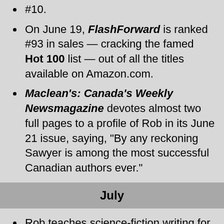June 18-24, #3; for June 25-July 1, #10.
On June 19, FlashForward is ranked #93 in sales — cracking the famed Hot 100 list — out of all the titles available on Amazon.com.
Maclean's: Canada's Weekly Newsmagazine devotes almost two full pages to a profile of Rob in its June 21 issue, saying, "By any reckoning Sawyer is among the most successful Canadian authors ever."
July
Rob teaches science-fiction writing for four days at the University of Toronto's Taddle Creek Writers Workshop.